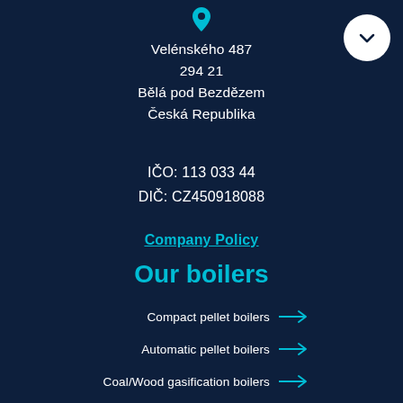Velénského 487
294 21
Bělá pod Bezdězem
Česká Republika
IČO: 113 033 44
DIČ: CZ450918088
Company Policy
Our boilers
Compact pellet boilers →
Automatic pellet boilers →
Coal/Wood gasification boilers →
Wood gasification boilers – Drevoplyn →
Wood gasification boilers – Generator →
Wood gasification boilers – Dakagon →